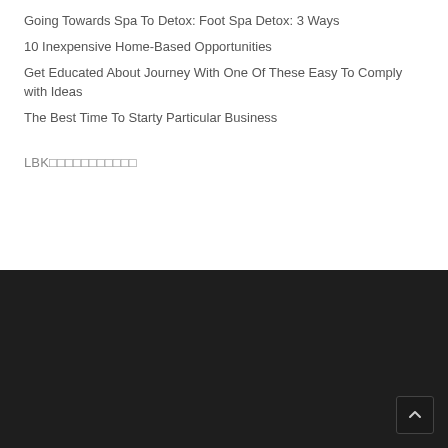Going Towards Spa To Detox: Foot Spa Detox: 3 Ways
10 Inexpensive Home-Based Opportunities
Get Educated About Journey With One Of These Easy To Comply with Ideas
The Best Time To Starty Particular Business
LBK           
[Figure (other): Dark footer section with a scroll-to-top button in the bottom-right corner]